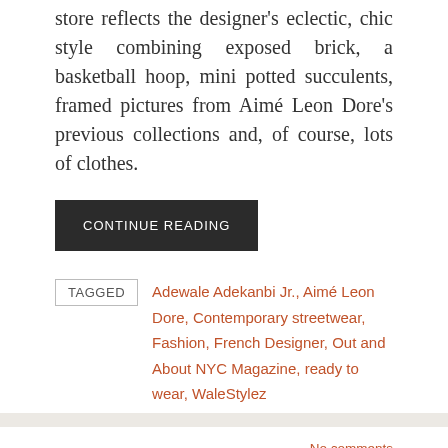store reflects the designer's eclectic, chic style combining exposed brick, a basketball hoop, mini potted succulents, framed pictures from Aimé Leon Dore's previous collections and, of course, lots of clothes.
CONTINUE READING
TAGGED  Adewale Adekanbi Jr., Aimé Leon Dore, Contemporary streetwear, Fashion, French Designer, Out and About NYC Magazine, ready to wear, WaleStylez
No comments
2/16/17 O&A WITH WALESTYLEZ FASHION: PUBLIC SCHOOL X AIR JORDAN